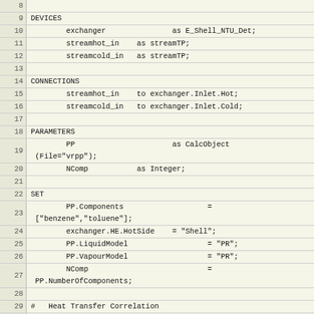[Figure (screenshot): Source code listing lines 8-34 of a process simulation file showing DEVICES, CONNECTIONS, PARAMETERS, SET sections with heat exchanger configuration code]